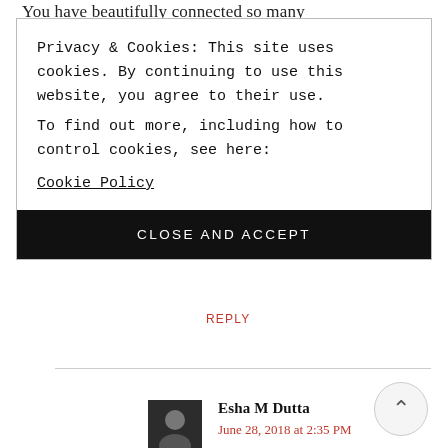You have beautifully connected so many
Privacy & Cookies: This site uses cookies. By continuing to use this website, you agree to their use.
To find out more, including how to control cookies, see here:
Cookie Policy
CLOSE AND ACCEPT
REPLY
Esha M Dutta
June 28, 2018 at 2:35 PM
Thank you so much, Sonia.I'm so glad you thought that way about my post. I went with the flow of words, and added the video